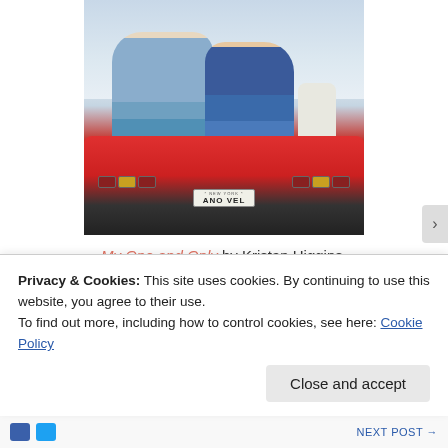[Figure (photo): Book cover of 'My One and Only' showing a couple and a dog sitting on the back of a red sports car with a New York license plate reading 'ANO VEL']
My One and Only by Kristan Higgins.
03 Olympics
Privacy & Cookies: This site uses cookies. By continuing to use this website, you agree to their use.
To find out more, including how to control cookies, see here: Cookie Policy